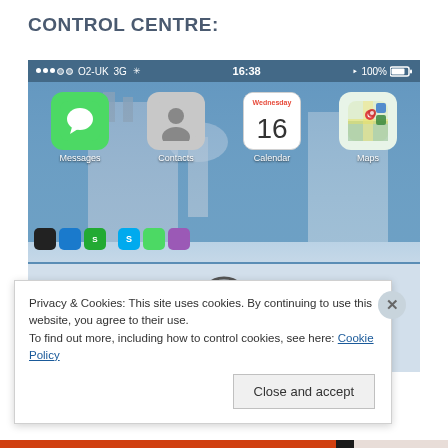CONTROL CENTRE:
[Figure (screenshot): iPhone home screen screenshot showing status bar with O2-UK 3G signal, 16:38 time, 100% battery. App icons visible: Messages (green speech bubble), Contacts (grey silhouette), Calendar showing Wednesday 16, Maps. Below is the Control Centre sliding up from the bottom with a swipe handle and circular control icons. A cookie consent banner overlays the bottom portion.]
Privacy & Cookies: This site uses cookies. By continuing to use this website, you agree to their use.
To find out more, including how to control cookies, see here: Cookie Policy